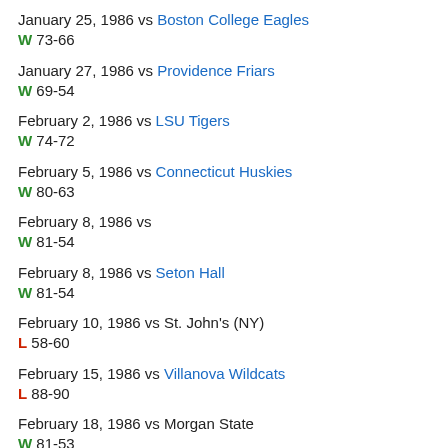January 25, 1986 vs Boston College Eagles
W 73-66
January 27, 1986 vs Providence Friars
W 69-54
February 2, 1986 vs LSU Tigers
W 74-72
February 5, 1986 vs Connecticut Huskies
W 80-63
February 8, 1986 vs
W 81-54
February 8, 1986 vs Seton Hall
W 81-54
February 10, 1986 vs St. John's (NY)
L 58-60
February 15, 1986 vs Villanova Wildcats
L 88-90
February 18, 1986 vs Morgan State
W 81-53